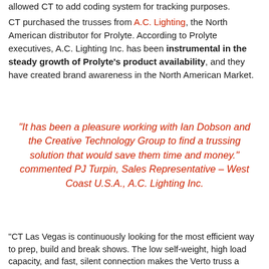allowed CT to add coding system for tracking purposes.
CT purchased the trusses from A.C. Lighting, the North American distributor for Prolyte. According to Prolyte executives, A.C. Lighting Inc. has been instrumental in the steady growth of Prolyte's product availability, and they have created brand awareness in the North American Market.
“It has been a pleasure working with Ian Dobson and the Creative Technology Group to find a trussing solution that would save them time and money.” commented PJ Turpin, Sales Representative – West Coast U.S.A., A.C. Lighting Inc.
“CT Las Vegas is continuously looking for the most efficient way to prep, build and break shows. The low self-weight, high load capacity, and fast, silent connection makes the Verto truss a perfect fit.”